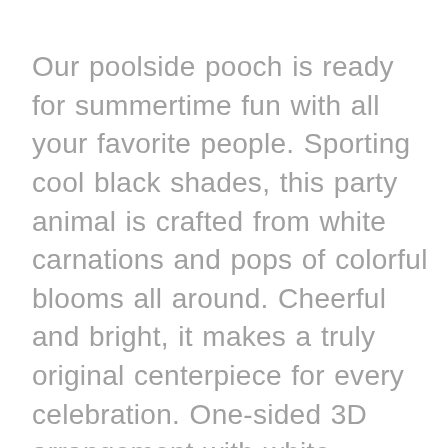Our poolside pooch is ready for summertime fun with all your favorite people. Sporting cool black shades, this party animal is crafted from white carnations and pops of colorful blooms all around. Cheerful and bright, it makes a truly original centerpiece for every celebration. One-sided 3D arrangement with white carnations, yellow daisy poms, orange mini carnations and purple statice; accented with assorted greenery Crafted in the shape of a dog, complete with eyes, nose, black shades and raffia collar Artistically designed in a dog bed